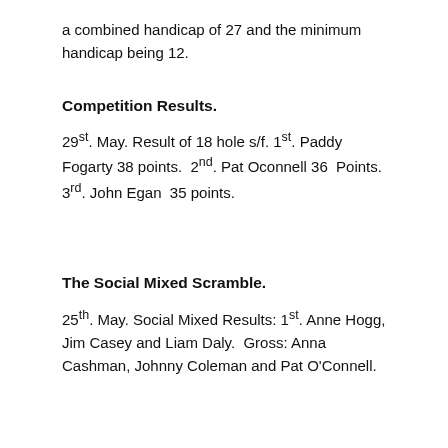a combined handicap of 27 and the minimum handicap being 12.
Competition Results.
29st. May. Result of 18 hole s/f. 1st. Paddy Fogarty 38 points.  2nd. Pat Oconnell 36  Points.  3rd. John Egan  35 points.
The Social Mixed Scramble.
25th. May. Social Mixed Results: 1st. Anne Hogg, Jim Casey and Liam Daly.  Gross: Anna Cashman, Johnny Coleman and Pat O'Connell.